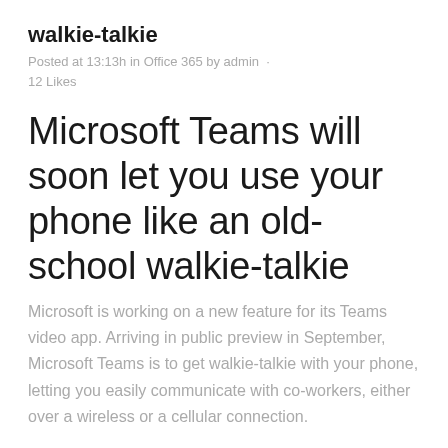walkie-talkie
Posted at 13:13h in Office 365 by admin · 12 Likes
Microsoft Teams will soon let you use your phone like an old-school walkie-talkie
Microsoft is working on a new feature for its Teams video app. Arriving in public preview in September, Microsoft Teams is to get walkie-talkie with your phone, letting you easily communicate with co-workers, either over a wireless or a cellular connection.
The walkie-talkie app will be baked directly into Microsoft Teams phones, and it will be